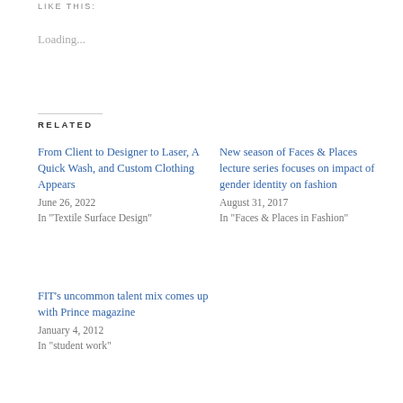LIKE THIS:
Loading...
RELATED
From Client to Designer to Laser, A Quick Wash, and Custom Clothing Appears
June 26, 2022
In "Textile Surface Design"
New season of Faces & Places lecture series focuses on impact of gender identity on fashion
August 31, 2017
In "Faces & Places in Fashion"
FIT's uncommon talent mix comes up with Prince magazine
January 4, 2012
In "student work"